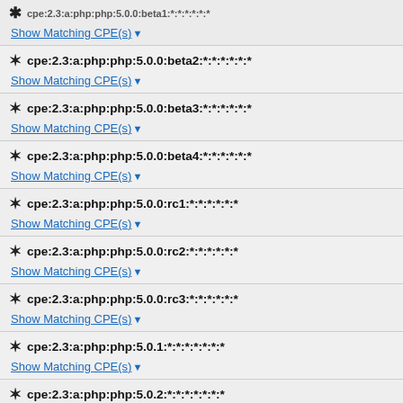cpe:2.3:a:php:php:5.0.0:beta2:*:*:*:*:*:*
Show Matching CPE(s)
cpe:2.3:a:php:php:5.0.0:beta3:*:*:*:*:*:*
Show Matching CPE(s)
cpe:2.3:a:php:php:5.0.0:beta4:*:*:*:*:*:*
Show Matching CPE(s)
cpe:2.3:a:php:php:5.0.0:rc1:*:*:*:*:*:*
Show Matching CPE(s)
cpe:2.3:a:php:php:5.0.0:rc2:*:*:*:*:*:*
Show Matching CPE(s)
cpe:2.3:a:php:php:5.0.0:rc3:*:*:*:*:*:*
Show Matching CPE(s)
cpe:2.3:a:php:php:5.0.1:*:*:*:*:*:*:*
Show Matching CPE(s)
cpe:2.3:a:php:php:5.0.2:*:*:*:*:*:*:*
Show Matching CPE(s)